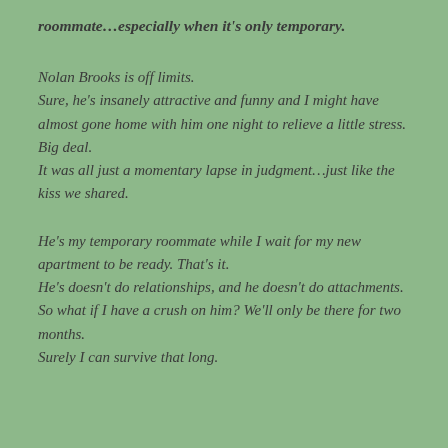roommate…especially when it's only temporary.
Nolan Brooks is off limits.
Sure, he's insanely attractive and funny and I might have almost gone home with him one night to relieve a little stress.
Big deal.
It was all just a momentary lapse in judgment…just like the kiss we shared.
He's my temporary roommate while I wait for my new apartment to be ready. That's it.
He's doesn't do relationships, and he doesn't do attachments.
So what if I have a crush on him? We'll only be there for two months.
Surely I can survive that long.